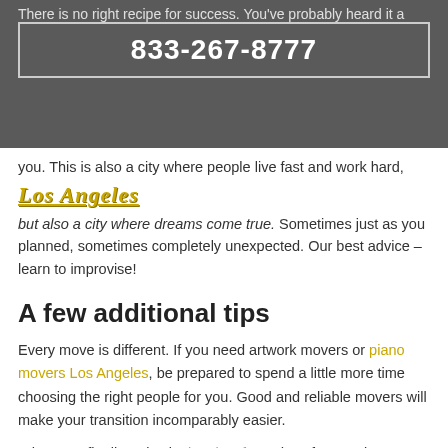There is no right recipe for success. You've probably heard it a million times. La is a city where the competition is very strong, but that is not something that should discourage
833-267-8777
you. This is also a city where people live fast and work hard, but also a city where dreams come true. Sometimes just as you planned, sometimes completely unexpected. Our best advice – learn to improvise!
A few additional tips
Every move is different. If you need artwork movers or piano movers Los Angeles, be prepared to spend a little more time choosing the right people for you. Good and reliable movers will make your transition incomparably easier.
When you finally arrive in the city of LA, don't forget – it's summer. Use it as a wonderful opportunity to get to know this beautiful city and everything it has to offer. Enjoy it...